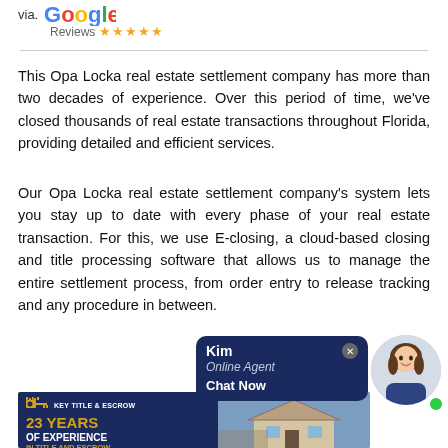[Figure (logo): Google Reviews logo with 5 stars and 'via' prefix text]
This Opa Locka real estate settlement company has more than two decades of experience. Over this period of time, we've closed thousands of real estate transactions throughout Florida, providing detailed and efficient services.
Our Opa Locka real estate settlement company's system lets you stay up to date with every phase of your real estate transaction. For this, we use E-closing, a cloud-based closing and title processing software that allows us to manage the entire settlement process, from order entry to release tracking and any procedure in between.
[Figure (screenshot): Chat widget showing 'Kim Online Agent Chat Now' on dark blue background, with a circular photo of a smiling woman agent and a green online indicator dot]
[Figure (infographic): Key Title & Escrow banner showing '23 YEARS OF EXPERIENCE IN TITLE AND ESCROW' with key icon logo and house photo]